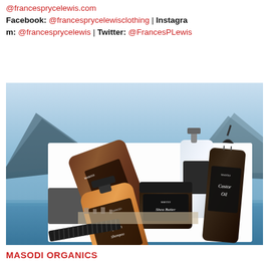@francesprycelewis.com
Facebook: @francesprycelewisclothing | Instagram: @francesprycelewis | Twitter: @FrancesPLewis
[Figure (photo): Product photo showing MASODI branded hair care products: Leave-In Conditioner (brown bottle), African Shampoo (amber bottle), Shea Butter (dark jar), and Castor Oil (dark bottle with dropper), arranged on a white surface with a comb, against a mountain landscape background.]
MASODI ORGANICS